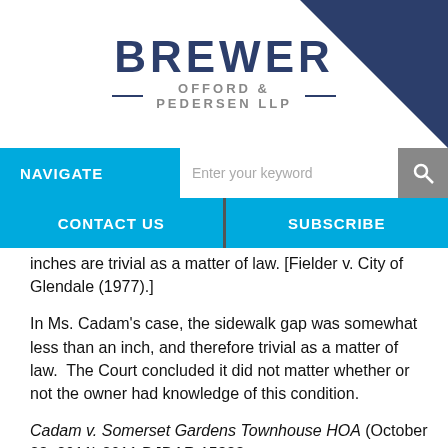[Figure (logo): Brewer Offord & Pedersen LLP law firm logo with dark blue triangle background on right]
[Figure (screenshot): Website navigation bar with NAVIGATE button, search field, CONTACT US and SUBSCRIBE buttons]
inches are trivial as a matter of law. [Fielder v. City of Glendale (1977).]
In Ms. Cadam's case, the sidewalk gap was somewhat less than an inch, and therefore trivial as a matter of law.  The Court concluded it did not matter whether or not the owner had knowledge of this condition.
Cadam v. Somerset Gardens Townhouse HOA (October 28, 2011) 2011 DJDAR 15833.
If you or others you know of manage real property, it's wise to have regular inspections and document the conditions that